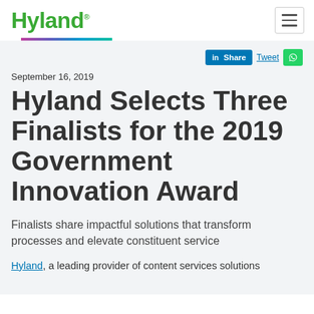Hyland
September 16, 2019
Hyland Selects Three Finalists for the 2019 Government Innovation Award
Finalists share impactful solutions that transform processes and elevate constituent service
Hyland, a leading provider of content services solutions